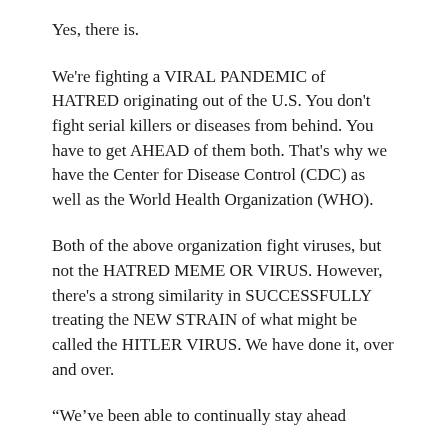Yes, there is.
We're fighting a VIRAL PANDEMIC of HATRED originating out of the U.S. You don't fight serial killers or diseases from behind. You have to get AHEAD of them both. That's why we have the Center for Disease Control (CDC) as well as the World Health Organization (WHO).
Both of the above organization fight viruses, but not the HATRED MEME OR VIRUS. However, there's a strong similarity in SUCCESSFULLY treating the NEW STRAIN of what might be called the HITLER VIRUS. We have done it, over and over.
“We’ve been able to continually stay ahead